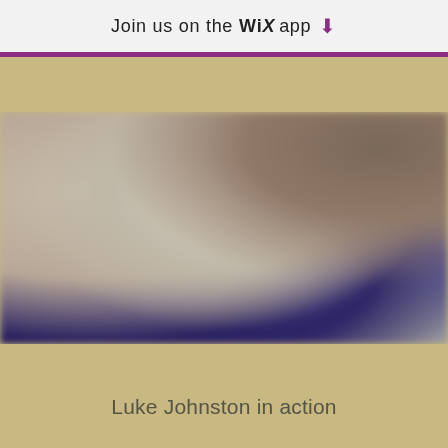Join us on the WiX app ⬇
[Figure (photo): Blurred photograph of people in a room, with purple/navy colored banners or clothing visible in the lower portion and beige/tan walls in the background]
Luke Johnston in action
[Figure (photo): Partially visible blurred photograph at the bottom of the page, appears to show a similar indoor scene]